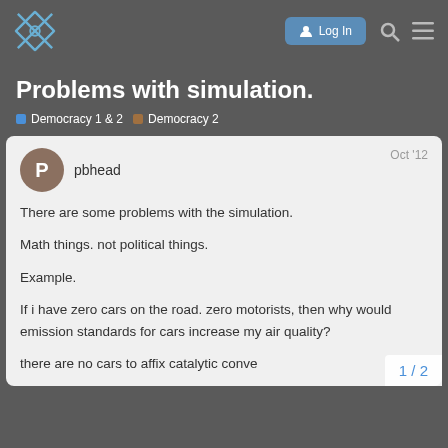Log In [navigation bar with logo, login, search, menu]
Problems with simulation.
Democracy 1 & 2   Democracy 2
pbhead   Oct '12
There are some problems with the simulation.
Math things. not political things.
Example.
If i have zero cars on the road. zero motorists, then why would emission standards for cars increase my air quality?
there are no cars to affix catalytic conve...
1 / 2